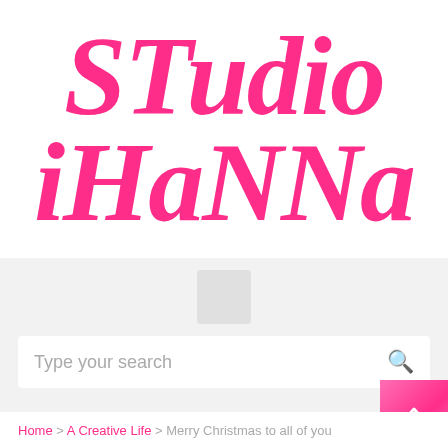[Figure (logo): Studio iHanna logo in large bold hot-pink brush-style italic text on white background]
[Figure (screenshot): Website UI with light gray background showing a small square menu icon placeholder, a search bar with 'Type your search' placeholder text and a search icon, a hot-pink back-to-top button with upward chevron arrow, and a breadcrumb navigation at the bottom reading: Home > A Creative Life > Merry Christmas to all of you]